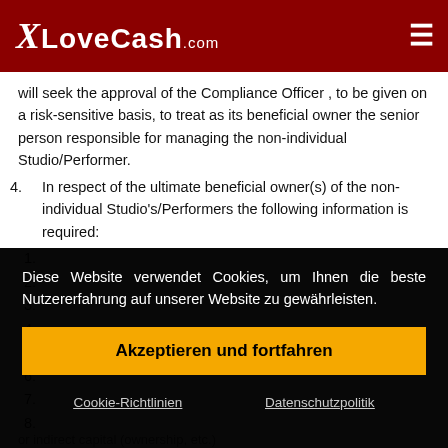XLoveCash.com
will seek the approval of the Compliance Officer , to be given on a risk-sensitive basis, to treat as its beneficial owner the senior person responsible for managing the non-individual Studio/Performer.
4. In respect of the ultimate beneficial owner(s) of the non-individual Studio's/Performers the following information is required:
1.
2.
3.
4.
5.
6.
7.
8.
Diese Website verwendet Cookies, um Ihnen die beste Nutzererfahrung auf unserer Website zu gewährleisten.
Akzeptieren und fortfahren
Cookie-Richtlinien    Datenschutzpolitik
or indirect capital (ownership, etc.)